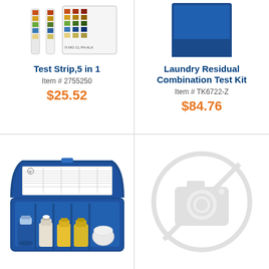[Figure (photo): Test strips (5 in 1) product image - partial view of test strips with color chart at top]
Test Strip,5 in 1
Item # 2755250
$25.52
[Figure (photo): Laundry Residual Combination Test Kit - partial view of blue box/container at top]
Laundry Residual Combination Test Kit
Item # TK6722-Z
$84.76
[Figure (photo): Blue plastic carrying case open showing test bottles and reagents inside with a data chart/reference card]
[Figure (illustration): No image available placeholder - circle with crossed-out camera icon in light gray]